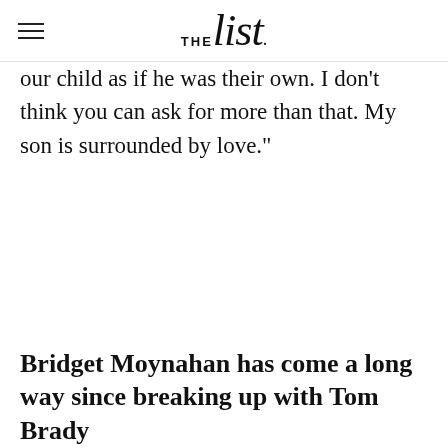THE list
our child as if he was their own. I don't think you can ask for more than that. My son is surrounded by love."
Bridget Moynahan has come a long way since breaking up with Tom Brady